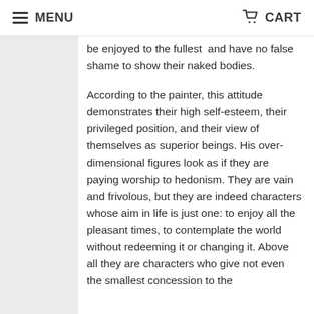MENU  CART
be enjoyed to the fullest  and have no false shame to show their naked bodies.
According to the painter, this attitude demonstrates their high self-esteem, their privileged position, and their view of themselves as superior beings. His over-dimensional figures look as if they are paying worship to hedonism. They are vain and frivolous, but they are indeed characters whose aim in life is just one: to enjoy all the pleasant times, to contemplate the world without redeeming it or changing it. Above all they are characters who give not even the smallest concession to the